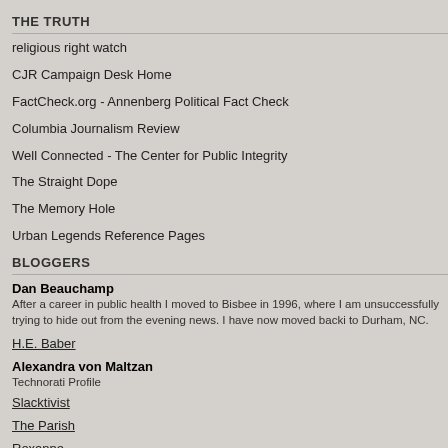THE TRUTH
religious right watch
CJR Campaign Desk Home
FactCheck.org - Annenberg Political Fact Check
Columbia Journalism Review
Well Connected - The Center for Public Integrity
The Straight Dope
The Memory Hole
Urban Legends Reference Pages
BLOGGERS
Dan Beauchamp
After a career in public health I moved to Bisbee in 1996, where I am unsuccessfully trying to hide out from the evening news. I have now moved backi to Durham, NC.
H.E. Baber
Alexandra von Maltzan
Technorati Profile
Slacktivist
The Parish
Roxanne
With that in mind, "Why shou... person go to an Anglican / Ep...
YBIC,
Jeffrey
Posted by: Jeffrey | Aug 08, 2006 a...
[Figure (illustration): Green geometric decorative square avatar with white cross/star pattern on dark green background]
Hi Jeffrey,

This is a good question, but i... of course, that there is somet... peculiar identity that would be... Since I have some trouble wi... or "straight" identity - especia... to come to some sort of desc... identity" is that would be rele... "episcopalian" is. I think that ... Episcopal church are good re... including gay people. I think v... right ecclesiology and a very... reasonable view of scripture ... means that the Episcopal chu...